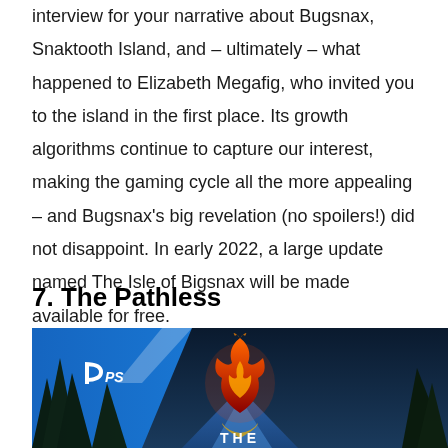interview for your narrative about Bugsnax, Snaktooth Island, and – ultimately – what happened to Elizabeth Megafig, who invited you to the island in the first place. Its growth algorithms continue to capture our interest, making the gaming cycle all the more appealing – and Bugsnax's big revelation (no spoilers!) did not disappoint. In early 2022, a large update named The Isle of Bigsnax will be made available for free.
7. The Pathless
[Figure (photo): Game cover/promotional image for The Pathless showing dark forest with glowing fiery creature/boss in center, PlayStation branding in top left corner, and 'THE' text at bottom]